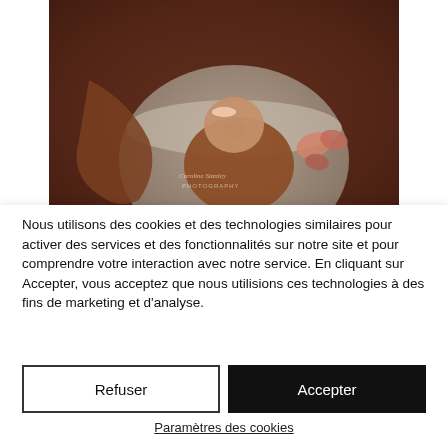[Figure (photo): Newborn baby wrapped in brown fabric sleeping in a round fuzzy bowl prop with butterfly decorations, dark brown background, watermark reads 'Caroline Stanley PHOTOGRAPHY']
Nous utilisons des cookies et des technologies similaires pour activer des services et des fonctionnalités sur notre site et pour comprendre votre interaction avec notre service. En cliquant sur Accepter, vous acceptez que nous utilisions ces technologies à des fins de marketing et d'analyse.
Refuser
Accepter
Paramètres des cookies